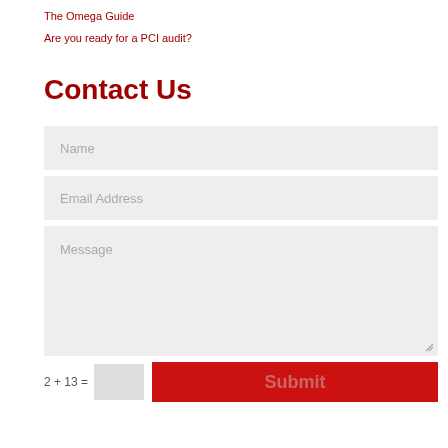The Omega Guide
Are you ready for a PCI audit?
Contact Us
[Figure (other): A contact form with Name, Email Address, and Message fields, a CAPTCHA showing '2 + 13 =', an input box, and a red Submit button.]